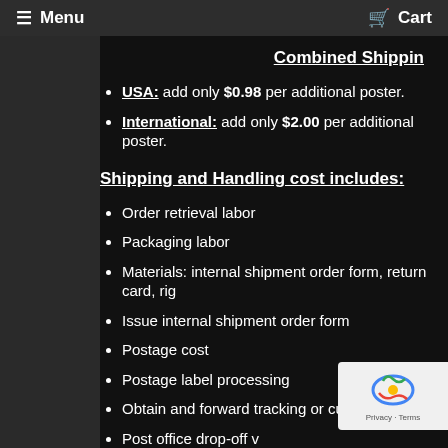Menu   Cart
Combined Shipping
USA: add only $0.98 per additional poster.
International: add only $2.00 per additional poster.
Shipping and Handling cost includes:
Order retrieval labor
Packaging labor
Materials: internal shipment order form, return card, rig
Issue internal shipment order form
Postage cost
Postage label processing
Obtain and forward tracking or customs inf
Post office drop-off v